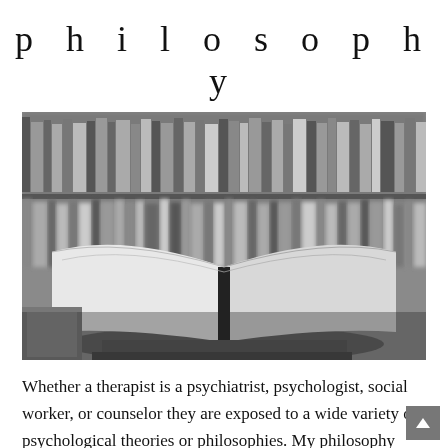philosophy
[Figure (photo): Black and white photograph of an open book in the foreground with a large bookshelf filled with books in the background. The open book is propped on a stack of other books.]
Whether a therapist is a psychiatrist, psychologist, social worker, or counselor they are exposed to a wide variety of psychological theories or philosophies. My philosophy integrates work from four specific approaches.